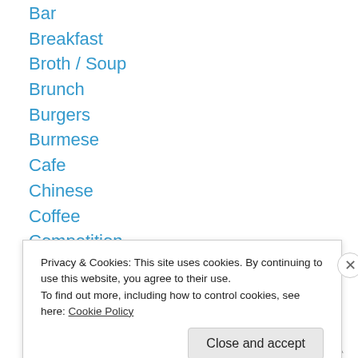Bar
Breakfast
Broth / Soup
Brunch
Burgers
Burmese
Cafe
Chinese
Coffee
Competition
Croatian
Croissant
Cupcakes
Desserts
Privacy & Cookies: This site uses cookies. By continuing to use this website, you agree to their use.
To find out more, including how to control cookies, see here: Cookie Policy
Close and accept